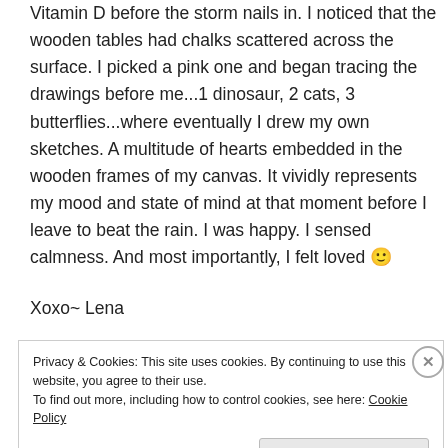Vitamin D before the storm nails in. I noticed that the wooden tables had chalks scattered across the surface. I picked a pink one and began tracing the drawings before me...1 dinosaur, 2 cats, 3 butterflies...where eventually I drew my own sketches. A multitude of hearts embedded in the wooden frames of my canvas. It vividly represents my mood and state of mind at that moment before I leave to beat the rain. I was happy. I sensed calmness. And most importantly, I felt loved 🙂
Xoxo~ Lena
Privacy & Cookies: This site uses cookies. By continuing to use this website, you agree to their use. To find out more, including how to control cookies, see here: Cookie Policy